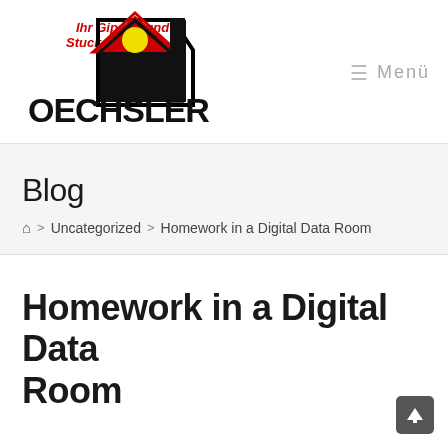[Figure (logo): Oechsler Gipser- und Stuckateurteam logo with house graphic, red and black colors, yellow sun circle]
≡ Menü
Blog
⌂ > Uncategorized > Homework in a Digital Data Room
Homework in a Digital Data Room